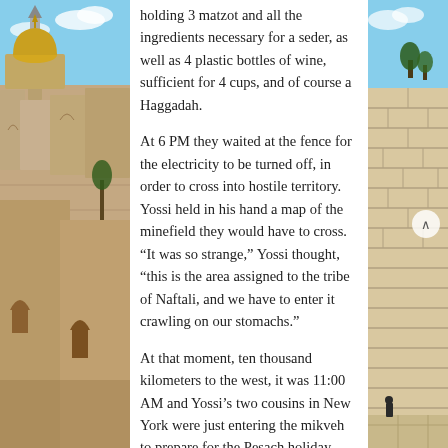[Figure (photo): Left side: Photo of Jerusalem with golden dome, minaret, and stone buildings against blue sky]
holding 3 matzot and all the ingredients necessary for a seder, as well as 4 plastic bottles of wine, sufficient for 4 cups, and of course a Haggadah.
At 6 PM they waited at the fence for the electricity to be turned off, in order to cross into hostile territory. Yossi held in his hand a map of the minefield they would have to cross. “It was so strange,” Yossi thought, “this is the area assigned to the tribe of Naftali, and we have to enter it crawling on our stomachs.”
At that moment, ten thousand kilometers to the west, it was 11:00 AM and Yossi’s two cousins in New York were just entering the mikveh to prepare for the Pesach holiday.
At 6:15 PM the small aperture in the gate opened and they passed through. As they had hoped, it was raining, and the thick fog was to their
[Figure (photo): Right side: Photo of the Western Wall (Kotel) in Jerusalem with stone blocks and blue sky, with a person visible at the bottom]